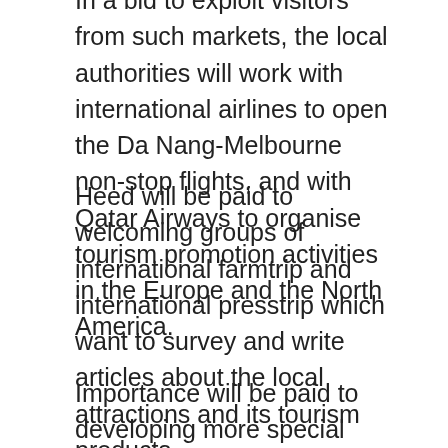In a bid to exploit visitors from such markets, the local authorities will work with international airlines to open the Da Nang-Melbourne non-stop flights, and with Qatar Airways to organise tourism promotion activities in the Europe and the North America.
Heed will be paid to welcoming groups of international farmtrip and international presstrip which want to survey and write articles about the local attractions and its tourism products.
Importance will be paid to developing more special tourism products for European visitors, and promoting the development